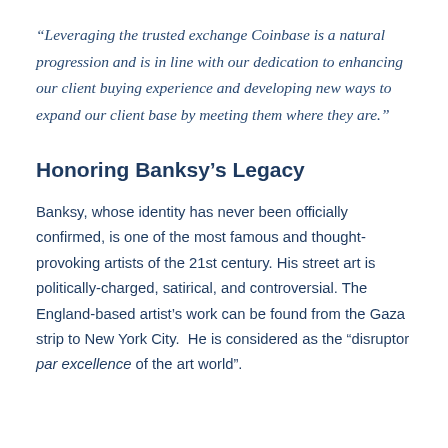“Leveraging the trusted exchange Coinbase is a natural progression and is in line with our dedication to enhancing our client buying experience and developing new ways to expand our client base by meeting them where they are.”
Honoring Banksy’s Legacy
Banksy, whose identity has never been officially confirmed, is one of the most famous and thought-provoking artists of the 21st century. His street art is politically-charged, satirical, and controversial. The England-based artist’s work can be found from the Gaza strip to New York City.  He is considered as the “disruptor par excellence of the art world”.